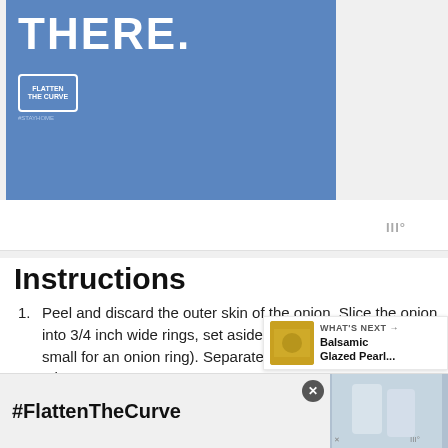[Figure (screenshot): Blue advertisement banner with text 'THERE.' and Flatten the Curve logo with #stayhome hashtag]
[Figure (screenshot): White strip with wordmark icon on the right]
Instructions
Peel and discard the outer skin of the onion. Slice the onion into 3/4 inch wide rings, set aside the centers (anything too small for an onion ring). Separate all the rings from each other.
In a medium bowl combine 1 cup of the flour flo... parsley, garlic powder, oregano and ba... and whisk together. It will be a thick an... Slowly whisk in the beer and egg. Place in the
[Figure (screenshot): Social sidebar with teal heart button showing 913 count and share button]
[Figure (screenshot): What's Next panel showing Balsamic Glazed Pearl... article thumbnail]
[Figure (screenshot): Bottom advertisement banner with #FlattenTheCurve text and photo of hands washing]